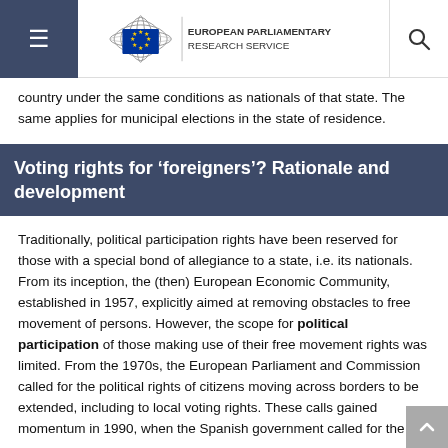European Parliamentary Research Service
country under the same conditions as nationals of that state. The same applies for municipal elections in the state of residence.
Voting rights for ‘foreigners’? Rationale and development
Traditionally, political participation rights have been reserved for those with a special bond of allegiance to a state, i.e. its nationals. From its inception, the (then) European Economic Community, established in 1957, explicitly aimed at removing obstacles to free movement of persons. However, the scope for political participation of those making use of their free movement rights was limited. From the 1970s, the European Parliament and Commission called for the political rights of citizens moving across borders to be extended, including to local voting rights. These calls gained momentum in 1990, when the Spanish government called for the